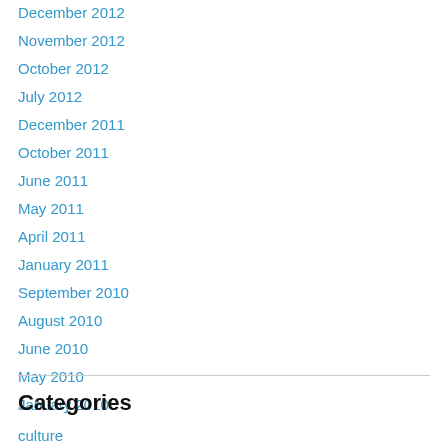December 2012
November 2012
October 2012
July 2012
December 2011
October 2011
June 2011
May 2011
April 2011
January 2011
September 2010
August 2010
June 2010
May 2010
January 2010
Categories
culture